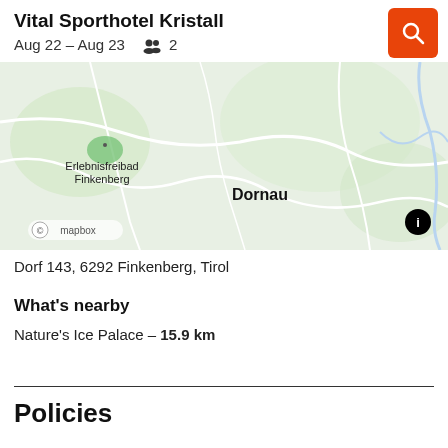Vital Sporthotel Kristall
Aug 22 – Aug 23   👥 2
[Figure (map): Map showing area around Vital Sporthotel Kristall in Finkenberg, Tirol. Shows Erlebnisfreibad Finkenberg label on left side, Dornau label in center, Mapbox attribution bottom left, info icon bottom right. Green terrain with white road lines and blue water features.]
Dorf 143, 6292 Finkenberg, Tirol
What's nearby
Nature's Ice Palace – 15.9 km
Policies